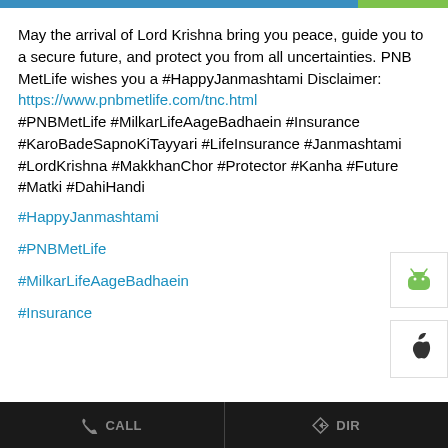May the arrival of Lord Krishna bring you peace, guide you to a secure future, and protect you from all uncertainties. PNB MetLife wishes you a #HappyJanmashtami Disclaimer: https://www.pnbmetlife.com/tnc.html #PNBMetLife #MilkarLifeAageBadhaein #Insurance #KaroBadeSapnoKiTayyari #LifeInsurance #Janmashtami #LordKrishna #MakkhanChor #Protector #Kanha #Future #Matki #DahiHandi
#HappyJanmashtami
#PNBMetLife
#MilkarLifeAageBadhaein
#Insurance
#KaroBadeSapnoKiTayyari
#LifeInsurance
#LordKrishna
#Matki
Cookie Information — We use cookies to provide you with a great user experience. By using the website, you accept our use of cookies — I ACCEPT